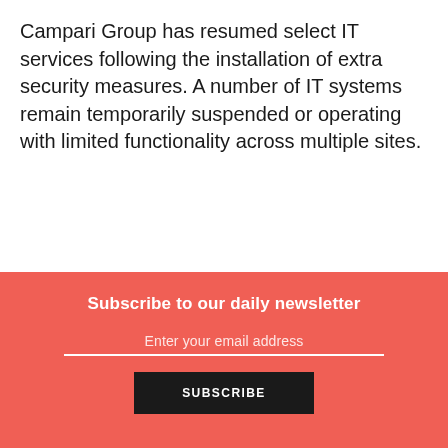Campari Group has resumed select IT services following the installation of extra security measures. A number of IT systems remain temporarily suspended or operating with limited functionality across multiple sites.
Subscribe to our daily newsletter
Enter your email address
SUBSCRIBE